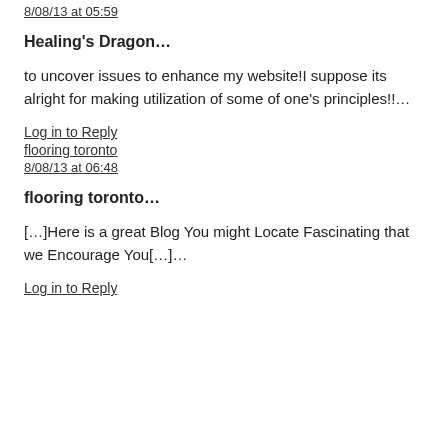8/08/13 at 05:59
Healing's Dragon…
to uncover issues to enhance my website!I suppose its alright for making utilization of some of one's principles!!…
Log in to Reply
flooring toronto
8/08/13 at 06:48
flooring toronto…
[…]Here is a great Blog You might Locate Fascinating that we Encourage You[…]…
Log in to Reply